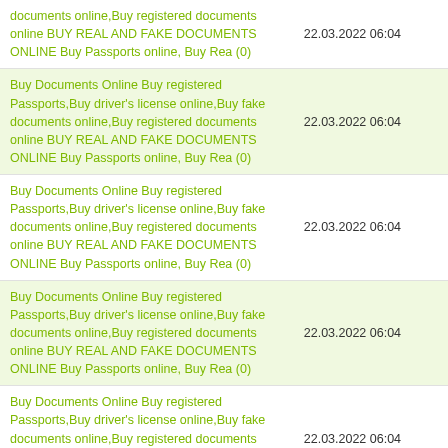documents online,Buy registered documents online BUY REAL AND FAKE DOCUMENTS ONLINE Buy Passports online, Buy Rea (0) | 22.03.2022 06:04
Buy Documents Online Buy registered Passports,Buy driver's license online,Buy fake documents online,Buy registered documents online BUY REAL AND FAKE DOCUMENTS ONLINE Buy Passports online, Buy Rea (0) | 22.03.2022 06:04
Buy Documents Online Buy registered Passports,Buy driver's license online,Buy fake documents online,Buy registered documents online BUY REAL AND FAKE DOCUMENTS ONLINE Buy Passports online, Buy Rea (0) | 22.03.2022 06:04
Buy Documents Online Buy registered Passports,Buy driver's license online,Buy fake documents online,Buy registered documents online BUY REAL AND FAKE DOCUMENTS ONLINE Buy Passports online, Buy Rea (0) | 22.03.2022 06:04
Buy Documents Online Buy registered Passports,Buy driver's license online,Buy fake documents online,Buy registered documents online BUY REAL AND FAKE DOCUMENTS ONLINE Buy Passports online, Buy Rea (0) | 22.03.2022 06:04
Buy Documents Online Buy registered Passports,Buy driver's license online,Buy fake documents online,Buy registered documents online BUY REAL AND FAKE DOCUMENTS ONLINE Buy Passports online, Buy Rea (0) | 22.03.2022 06:04
Buy Documents Online Buy registered Passports,Buy driver's license online,Buy fake documents online,Buy registered documents online... | 22.03.2022 06:04